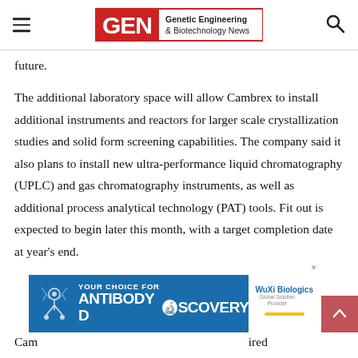GEN Genetic Engineering & Biotechnology News
future.
The additional laboratory space will allow Cambrex to install additional instruments and reactors for larger scale crystallization studies and solid form screening capabilities. The company said it also plans to install new ultra-performance liquid chromatography (UPLC) and gas chromatography instruments, as well as additional process analytical technology (PAT) tools. Fit out is expected to begin later this month, with a target completion date at year’s end.
[Figure (infographic): Advertisement banner: YOUR CHOICE FOR ANTIBODY DISCOVERY with WuXi Biologics logo]
Cam... ...ired